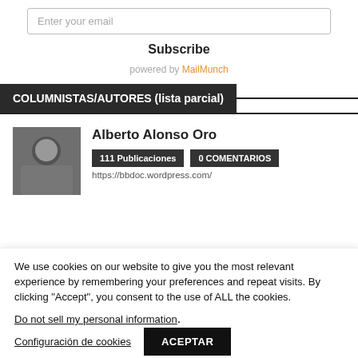Enter your email
Subscribe
powered by MailMunch
COLUMNISTAS/AUTORES (lista parcial)
[Figure (photo): Profile photo of Alberto Alonso Oro]
Alberto Alonso Oro
111 Publicaciones
0 COMENTARIOS
https://bbdoc.wordpress.com/
We use cookies on our website to give you the most relevant experience by remembering your preferences and repeat visits. By clicking “Accept”, you consent to the use of ALL the cookies.
Do not sell my personal information.
Configuración de cookies
ACEPTAR